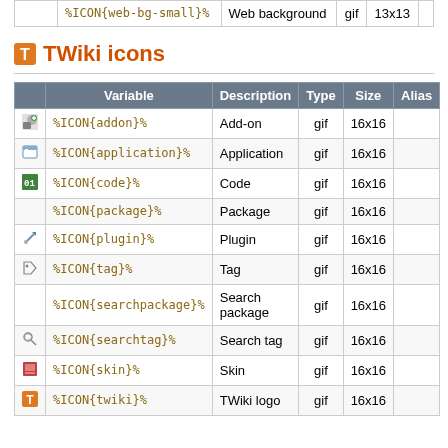|  | Variable | Description | Type | Size | Alias |
| --- | --- | --- | --- | --- | --- |
|  | %ICON{web-bg-small}% | Web background | gif | 13x13 |  |
TWiki icons
|  | Variable | Description | Type | Size | Alias |
| --- | --- | --- | --- | --- | --- |
| [addon icon] | %ICON{addon}% | Add-on | gif | 16x16 |  |
| [application icon] | %ICON{application}% | Application | gif | 16x16 |  |
| [code icon] | %ICON{code}% | Code | gif | 16x16 |  |
|  | %ICON{package}% | Package | gif | 16x16 |  |
| [plugin icon] | %ICON{plugin}% | Plugin | gif | 16x16 |  |
| [tag icon] | %ICON{tag}% | Tag | gif | 16x16 |  |
|  | %ICON{searchpackage}% | Search package | gif | 16x16 |  |
| [searchtag icon] | %ICON{searchtag}% | Search tag | gif | 16x16 |  |
| [skin icon] | %ICON{skin}% | Skin | gif | 16x16 |  |
| [twiki icon] | %ICON{twiki}% | TWiki logo | gif | 16x16 |  |